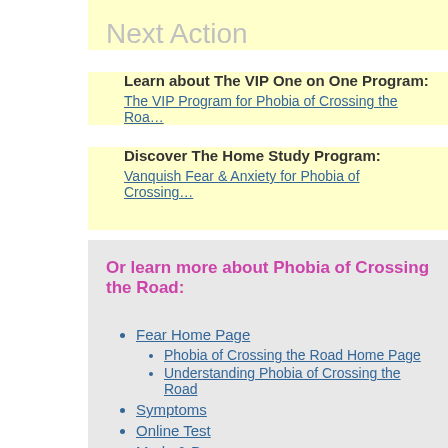Next Action
Learn about The VIP One on One Program:
The VIP Program for Phobia of Crossing the Roa…
Discover The Home Study Program:
Vanquish Fear & Anxiety for Phobia of Crossing…
Or learn more about Phobia of Crossing the Road:
Fear Home Page
Phobia of Crossing the Road Home Page
Understanding Phobia of Crossing the Road
Symptoms
Online Test
Meds & Drugs
Treatment & Cure
How to Overcome